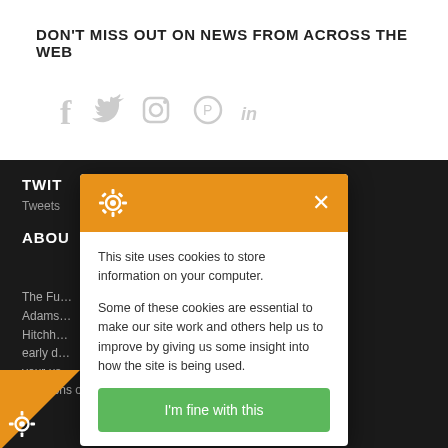DON'T MISS OUT ON NEWS FROM ACROSS THE WEB
[Figure (illustration): Social media icons: Facebook, Twitter, Instagram, Pinterest, LinkedIn in light gray]
TWIT...
Tweets...
ABOU...
The Fu... of gratitude to Douglas Adams... duate, Matt joined 'The Hitchh... which was online in the early d... m-driven). At the time your us... behalf; after answering ...estions on your life, interests, and studies. My given
[Figure (screenshot): Cookie consent modal dialog with orange header containing gear/cookie icon and X close button, white body with text 'This site uses cookies to store information on your computer. Some of these cookies are essential to make our site work and others help us to improve by giving us some insight into how the site is being used.' and green 'I'm fine with this' button]
[Figure (illustration): Orange triangular badge in bottom left corner with white gear/cookie icon]